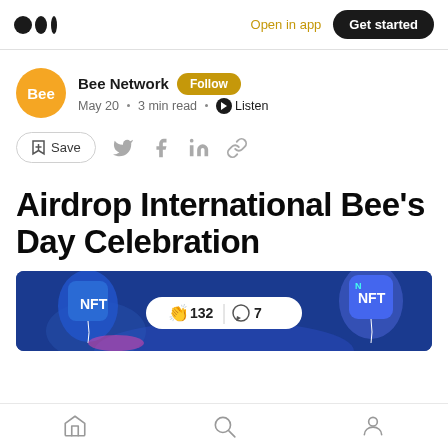Open in app | Get started
Bee Network · Follow
May 20 · 3 min read · Listen
Save (social share icons)
Airdrop International Bee's Day Celebration
[Figure (photo): Blue banner with NFT balloons on left and right, and an engagement pill showing 132 claps and 7 comments]
Home | Search | Profile (bottom navigation)